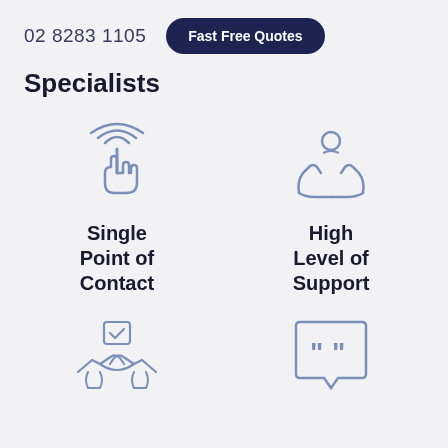02 8283 1105   Fast Free Quotes
Specialists
[Figure (illustration): Touch/finger tap icon with signal waves — representing single point of contact]
Single Point of Contact
[Figure (illustration): Hands cradling a person icon — representing high level of support]
High Level of Support
[Figure (illustration): Handshake with a checkbox/checkmark above — representing a deal or agreement]
[Figure (illustration): Speech bubble with quotation marks — representing testimonials or quotes]